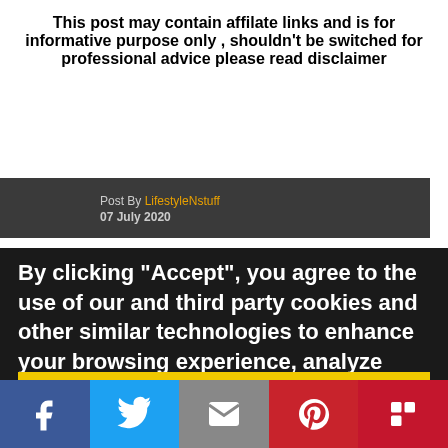This post may contain affilate links and is for informative purpose only , shouldn't be switched for professional advice please read disclaimer
Post By LifestyleNstuff
07 July 2020
By clicking "Accept", you agree to the use of our and third party cookies and other similar technologies to enhance your browsing experience, analyze your engagement with our content, and for other legitimate business purposes. You can withdraw your consent at any time by deleting your cookies through your browser.
Accept